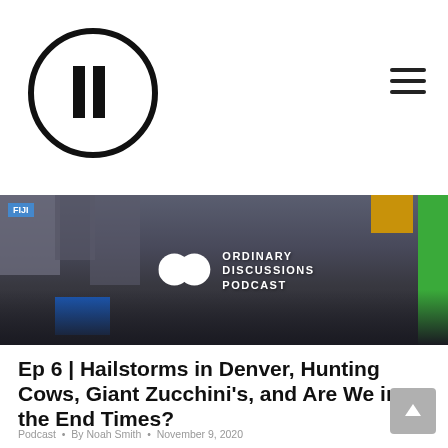Ordinary Discussions Podcast — site header with logo and hamburger menu
[Figure (photo): Hero banner image showing a crowded city street (Times Square, New York) with the Ordinary Discussions Podcast logo overlaid in white text and circular logo mark]
Ep 6 | Hailstorms in Denver, Hunting Cows, Giant Zucchini’s, and Are We in the End Times?
Podcast • By Noah Smith • November 9, 2020